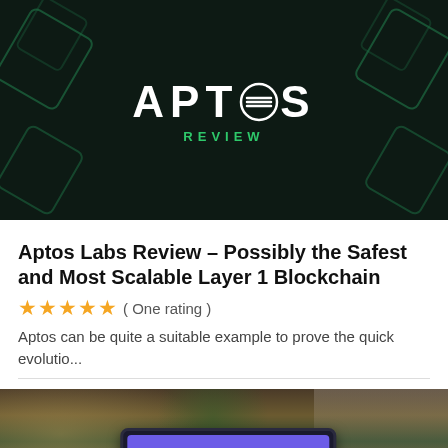[Figure (illustration): Aptos Review banner image: dark green/black background with hexagonal decorations, APTOS logo in white text with stylized icon, and 'REVIEW' text in green below]
Aptos Labs Review – Possibly the Safest and Most Scalable Layer 1 Blockchain
★★★★★ ( One rating )
Aptos can be quite a suitable example to prove the quick evolutio...
[Figure (photo): Photo of a person using a tablet with a purple payment screen showing amount $254.39 and form fields, in a restaurant setting with wine glass and green bottle in background]